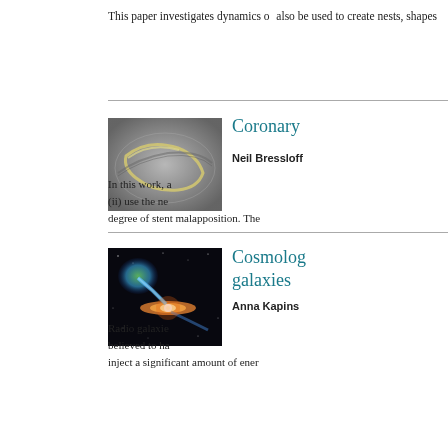This paper investigates dynamics o... also be used to create nests, shapes...
[Figure (photo): Medical x-ray image of a coronary stent]
Coronary
Neil Bressloff
In this work, a... (ii) use the ne... degree of stent malapposition. The...
[Figure (photo): Artistic illustration of radio galaxies with jets and lobes in space]
Cosmolog... galaxies
Anna Kapins...
Radio galaxie... believed to ha... inject a significant amount of ener...